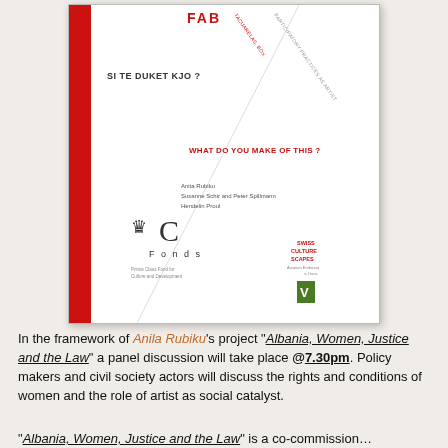[Figure (photo): Book cover of a publication showing 'FAB' in red text at top, 'SI TE DUKET KJO?' in dark text, 'WHAT DO YOU MAKE OF THIS?' in red text, authors listed (Anita Rubiku, Susanne Schir and Peter Spillmann, Hendelin Proul), a diagonal line with rotated text, Prince Claus Fonds logo, and Swiss Culture Scapes branding with a green box logo on a white background with a red vertical stripe on the left.]
In the framework of Anila Rubiku's project “Albania, Women, Justice and the Law” a panel discussion will take place @7.30pm. Policy makers and civil society actors will discuss the rights and conditions of women and the role of artist as social catalyst.
“Albania, Women, Justice and the Law” is a co-commission…